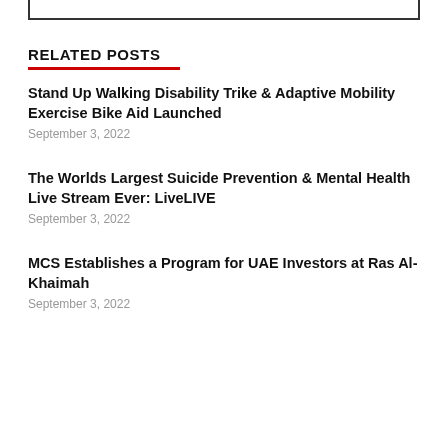RELATED POSTS
Stand Up Walking Disability Trike & Adaptive Mobility Exercise Bike Aid Launched
September 3, 2022
The Worlds Largest Suicide Prevention & Mental Health Live Stream Ever: LiveLIVE
September 3, 2022
MCS Establishes a Program for UAE Investors at Ras Al-Khaimah
September 3, 2022